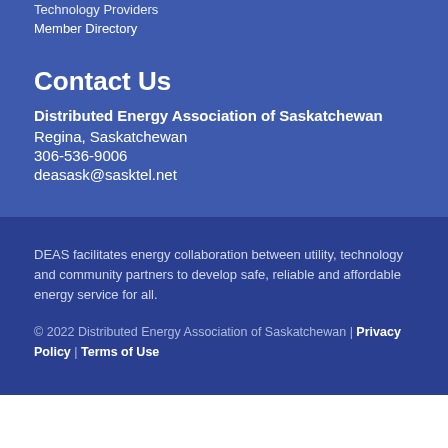Technology Providers
Member Directory
Contact Us
Distributed Energy Association of Saskatchewan
Regina, Saskatchewan
306-536-9006
deasask@sasktel.net
DEAS facilitates energy collaboration between utility, technology and community partners to develop safe, reliable and affordable energy service for all.
© 2022 Distributed Energy Association of Saskatchewan | Privacy Policy | Terms of Use